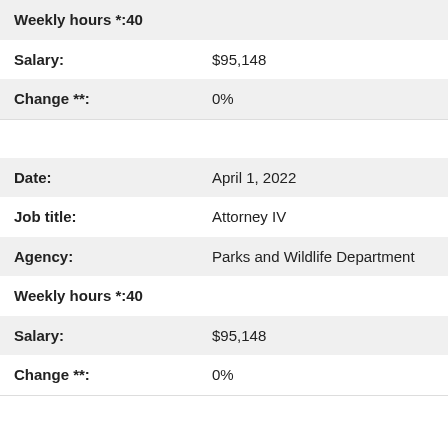| Weekly hours *: | 40 |
| Salary: | $95,148 |
| Change **: | 0% |
| Date: | April 1, 2022 |
| Job title: | Attorney IV |
| Agency: | Parks and Wildlife Department |
| Weekly hours *: | 40 |
| Salary: | $95,148 |
| Change **: | 0% |
| Date: | Jan. 1, 2022 |